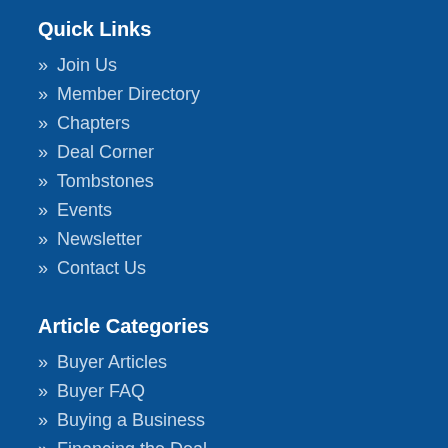Quick Links
» Join Us
» Member Directory
» Chapters
» Deal Corner
» Tombstones
» Events
» Newsletter
» Contact Us
Article Categories
» Buyer Articles
» Buyer FAQ
» Buying a Business
» Financing the Deal
» Seller Articles